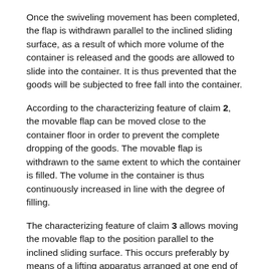Once the swiveling movement has been completed, the flap is withdrawn parallel to the inclined sliding surface, as a result of which more volume of the container is released and the goods are allowed to slide into the container. It is thus prevented that the goods will be subjected to free fall into the container.
According to the characterizing feature of claim 2, the movable flap can be moved close to the container floor in order to prevent the complete dropping of the goods. The movable flap is withdrawn to the same extent to which the container is filled. The volume in the container is thus continuously increased in line with the degree of filling.
The characterizing feature of claim 3 allows moving the movable flap to the position parallel to the inclined sliding surface. This occurs preferably by means of a lifting apparatus arranged at one end of the flap, preferably a pneumatic cylinder.
According to the characterizing feature of claim 4, the swivelable flap is composed of two mutually displaceable, superimposed plate elements. This advantageous configuration allows using the one plate element as a